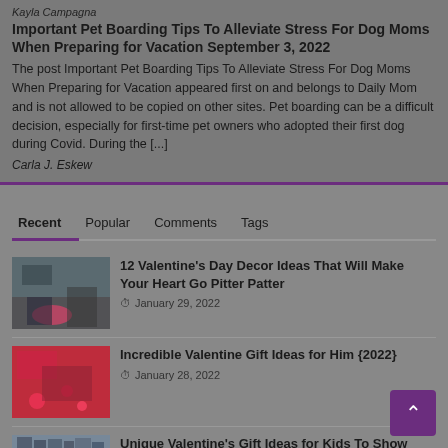Kayla Campagna
Important Pet Boarding Tips To Alleviate Stress For Dog Moms When Preparing for Vacation September 3, 2022
The post Important Pet Boarding Tips To Alleviate Stress For Dog Moms When Preparing for Vacation appeared first on and belongs to Daily Mom and is not allowed to be copied on other sites. Pet boarding can be a difficult decision, especially for first-time pet owners who adopted their first dog during Covid. During the [...]
Carla J. Eskew
Recent   Popular   Comments   Tags
[Figure (photo): Room with decorations for Valentine's Day]
12 Valentine's Day Decor Ideas That Will Make Your Heart Go Pitter Patter
January 29, 2022
[Figure (photo): Valentine gift items with red hearts and decorations]
Incredible Valentine Gift Ideas for Him {2022}
January 28, 2022
[Figure (photo): Books or items for kids gift ideas]
Unique Valentine's Gift Ideas for Kids To Show Them Some Love